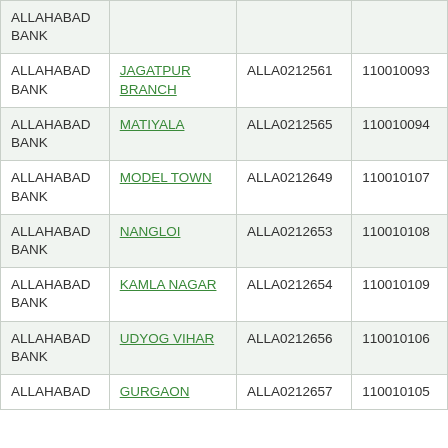| Bank | Branch | IFSC | MICR |
| --- | --- | --- | --- |
| ALLAHABAD BANK |  |  |  |
| ALLAHABAD BANK | JAGATPUR BRANCH | ALLA0212561 | 110010093 |
| ALLAHABAD BANK | MATIYALA | ALLA0212565 | 110010094 |
| ALLAHABAD BANK | MODEL TOWN | ALLA0212649 | 110010107 |
| ALLAHABAD BANK | NANGLOI | ALLA0212653 | 110010108 |
| ALLAHABAD BANK | KAMLA NAGAR | ALLA0212654 | 110010109 |
| ALLAHABAD BANK | UDYOG VIHAR | ALLA0212656 | 110010106 |
| ALLAHABAD BANK | GURGAON | ALLA0212657 | 110010105 |